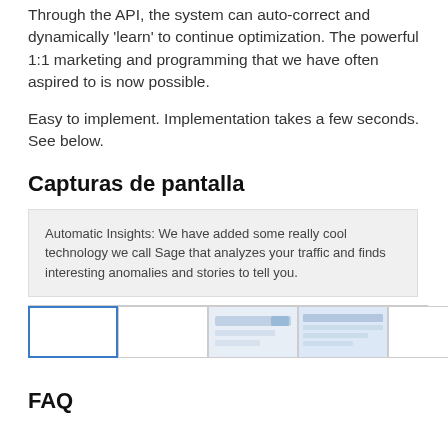Through the API, the system can auto-correct and dynamically 'learn' to continue optimization. The powerful 1:1 marketing and programming that we have often aspired to is now possible.
Easy to implement. Implementation takes a few seconds. See below.
Capturas de pantalla
Automatic Insights: We have added some really cool technology we call Sage that analyzes your traffic and finds interesting anomalies and stories to tell you.
[Figure (screenshot): Row of 5 thumbnail screenshots in a gallery strip, first one selected with blue border]
FAQ